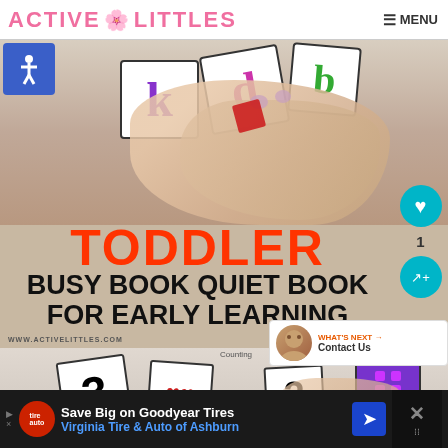ACTIVE LITTLES   MENU
[Figure (screenshot): Screenshot of Active Littles website showing a toddler busy book / quiet book for early learning. Top half shows hands arranging letter tiles with letters k, d, b visible. Bottom half shows counting cards with number 3, hearts, and a four-dot tile. Text overlay reads: TODDLER BUSY BOOK QUIET BOOK FOR EARLY LEARNING. Watermark: WWW.ACTIVELITTLES.COM. Sidebar shows heart button, count 1, and share button. What's Next panel shows Contact Us link.]
Save Big on Goodyear Tires
Virginia Tire & Auto of Ashburn